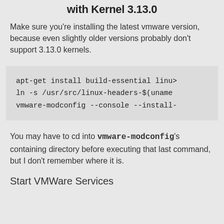with Kernel 3.13.0
Make sure you're installing the latest vmware version, because even slightly older versions probably don't support 3.13.0 kernels.
apt-get install build-essential linu>
ln -s /usr/src/linux-headers-$(uname
vmware-modconfig --console --install-
You may have to cd into vmware-modconfig's containing directory before executing that last command, but I don't remember where it is.
Start VMWare Services